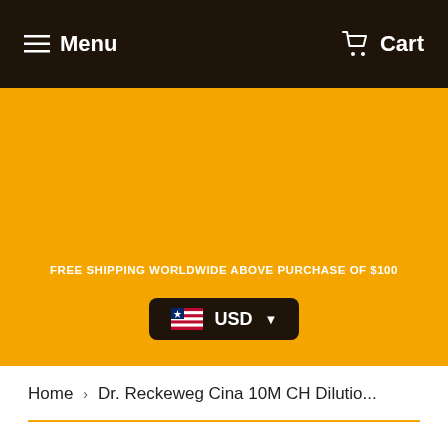Menu  Cart
[Figure (infographic): Orange banner with text: FREE SHIPPING WORLDWIDE ABOVE PURCHASE OF $100, and a dark USD currency selector button with Liberian flag]
Home › Dr. Reckeweg Cina 10M CH Dilutio...